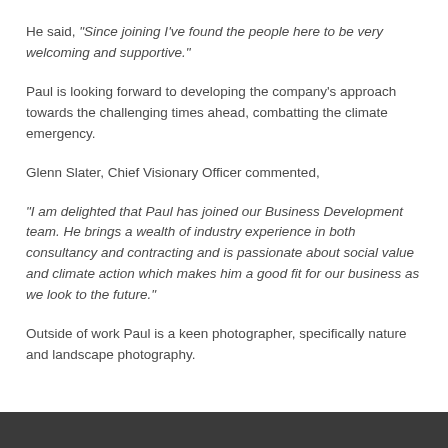He said, “Since joining I’ve found the people here to be very welcoming and supportive.”
Paul is looking forward to developing the company’s approach towards the challenging times ahead, combatting the climate emergency.
Glenn Slater, Chief Visionary Officer commented,
“I am delighted that Paul has joined our Business Development team. He brings a wealth of industry experience in both consultancy and contracting and is passionate about social value and climate action which makes him a good fit for our business as we look to the future.”
Outside of work Paul is a keen photographer, specifically nature and landscape photography.